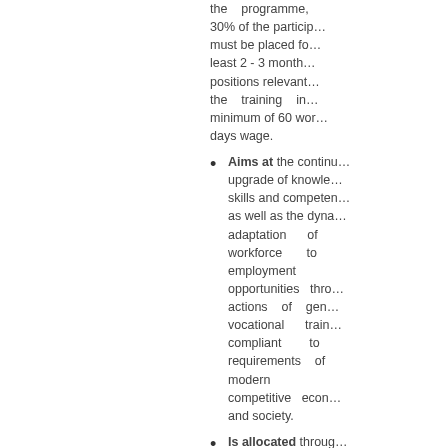the programme, 30% of the participants must be placed for at least 2 - 3 months in positions relevant to the training in a minimum of 60 working days wage.
Aims at the continuous upgrade of knowledge, skills and competencies as well as the dynamic adaptation of the workforce to employment opportunities through actions of general vocational training compliant to requirements of the modern competitive economy and society.
Is allocated throughout the Greek Territory and the 3 region types for the benefit of 7... individuals in total.
OBJECTIVE OF THE ACTION